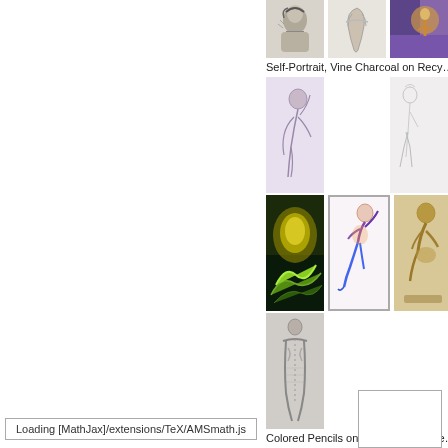[Figure (photo): Grid of figure drawings and artwork thumbnails - top row with charcoal/pencil portraits and sketches]
Self-Portrait, Vine Charcoal on Recy…
[Figure (photo): Grid of figure drawings - middle rows with life drawing sketches and colored figure studies]
Colored Pencils on Paper, From Phe…
Loading [MathJax]/extensions/TeX/AMSmath.js
[Figure (other): Empty white box placeholder at bottom right]